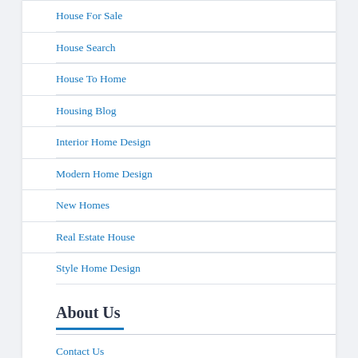House For Sale
House Search
House To Home
Housing Blog
Interior Home Design
Modern Home Design
New Homes
Real Estate House
Style Home Design
About Us
Contact Us
Advertise Here